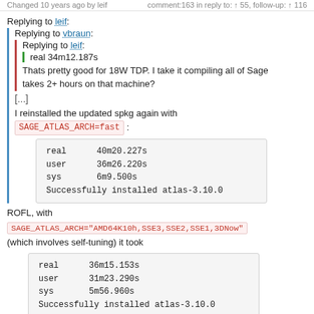Changed 10 years ago by leif    comment:163 in reply to: ↑ 55, follow-up: ↑ 116
Replying to leif:
Replying to vbraun:
Replying to leif:
real 34m12.187s
Thats pretty good for 18W TDP. I take it compiling all of Sage takes 2+ hours on that machine?
[...]
I reinstalled the updated spkg again with SAGE_ATLAS_ARCH=fast :
real      40m20.227s
user      36m26.220s
sys       6m9.500s
Successfully installed atlas-3.10.0
ROFL, with
SAGE_ATLAS_ARCH="AMD64K10h,SSE3,SSE2,SSE1,3DNow"
(which involves self-tuning) it took
real      36m15.153s
user      31m23.290s
sys       5m56.960s
Successfully installed atlas-3.10.0
Also a bit strange is that the timing for ptestlong (all for Sage 5.2.rc0, GCC 4.4.2) was